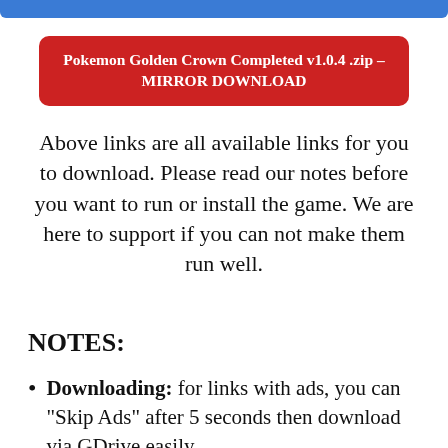[Figure (other): Blue bar at the top of the page]
[Figure (other): Red rounded button with text: Pokemon Golden Crown Completed v1.0.4 .zip - MIRROR DOWNLOAD]
Above links are all available links for you to download. Please read our notes before you want to run or install the game. We are here to support if you can not make them run well.
NOTES:
Downloading: for links with ads, you can "Skip Ads" after 5 seconds then download via GDrive easily.